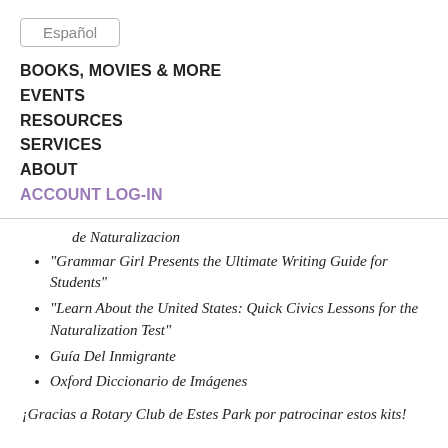Español
BOOKS, MOVIES & MORE
EVENTS
RESOURCES
SERVICES
ABOUT
ACCOUNT LOG-IN
de Naturalizacion
"Grammar Girl Presents the Ultimate Writing Guide for Students"
"Learn About the United States: Quick Civics Lessons for the Naturalization Test"
Guía Del Inmigrante
Oxford Diccionario de Imágenes
¡Gracias a Rotary Club de Estes Park por patrocinar estos kits!